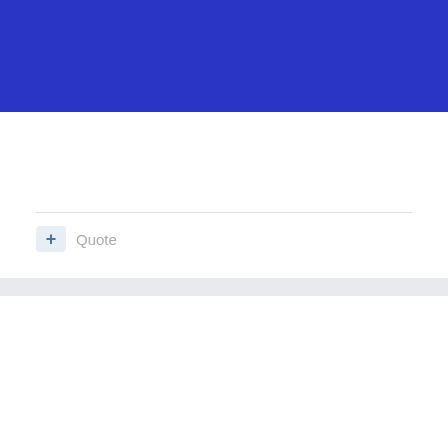[Figure (photo): Blue background image, partial view at top of page]
+ Quote
andrew.deboer
Posted February 25, 2020
On 2/25/2020 at 3:26 PM, Starfighter84 said:
"Buongiorno!
Mama Mia (maybe you trying to say MAMMA mia)! also this modeler encountered the same problem with the seats and canopy!!
All of this modelers needs much more modeling skills